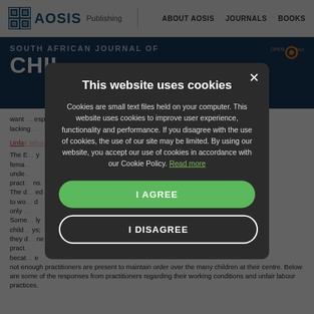AOSIS Publishing | ABOUT AOSIS | JOURNALS | BOOKS
SOUTH AFRICAN JOURNAL OF CHIL...
want... especially... lacking...
Unfair labour practices
The ECD... female... under... practices... The d... to wo... only... Some... chil... they d... prac... because... not enough practitioners are present to maintain order over the many children at their centre. Below are some of the responses from practitioners regarding their working conditions and unfair labour practices.
This website uses cookies
Cookies are small text files held on your computer. This website uses cookies to improve user experience, functionality and performance. If you disagree with the use of cookies, the use of our site may be limited. By using our website, you accept our use of cookies in accordance with our Cookie Policy. Read more
I AGREE
I DISAGREE